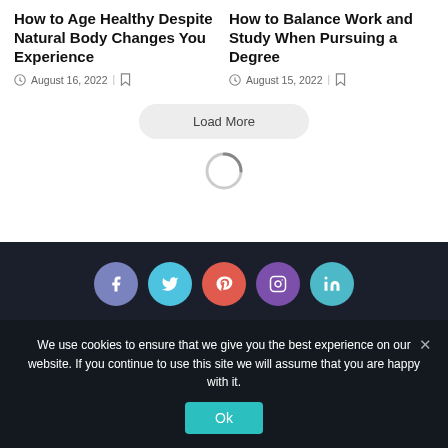How to Age Healthy Despite Natural Body Changes You Experience
August 16, 2022
How to Balance Work and Study When Pursuing a Degree
August 15, 2022
Load More
[Figure (other): Loading spinner animation]
[Figure (other): Social media icons row: Facebook, Twitter, Pinterest, Instagram, LinkedIn]
We use cookies to ensure that we give you the best experience on our website. If you continue to use this site we will assume that you are happy with it.
Ok